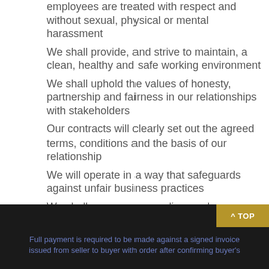employees are treated with respect and without sexual, physical or mental harassment
We shall provide, and strive to maintain, a clean, healthy and safe working environment
We shall uphold the values of honesty, partnership and fairness in our relationships with stakeholders
Our contracts will clearly set out the agreed terms, conditions and the basis of our relationship
We will operate in a way that safeguards against unfair business practices
We shall encourage suppliers and contractors to adopt responsible business policies and practices for mutual benefit
^ TOP
Full payment is required to be made against a signed invoice issued from seller to buyer with order after confirming buyer's